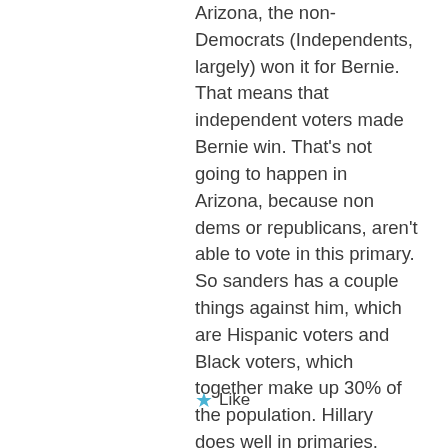Arizona, the non-Democrats (Independents, largely) won it for Bernie. That means that independent voters made Bernie win. That's not going to happen in Arizona, because non dems or republicans, aren't able to vote in this primary. So sanders has a couple things against him, which are Hispanic voters and Black voters, which together make up 30% of the population. Hillary does well in primaries, Michigan was an exception due to the independent voters. In, conclusion, you should stop predicting as you are biased to Bernie and you you obviously don't know what you're doing.
Like